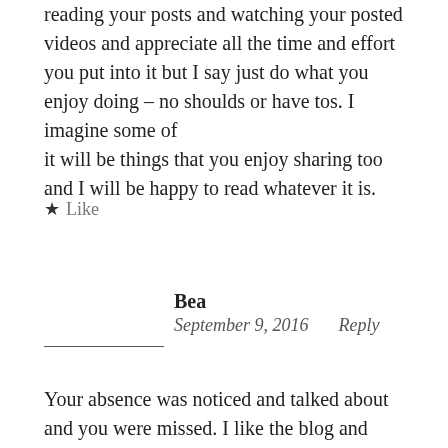reading your posts and watching your posted videos and appreciate all the time and effort you put into it but I say just do what you enjoy doing – no shoulds or have tos. I imagine some of
it will be things that you enjoy sharing too and I will be happy to read whatever it is.
★ Like
Bea
September 9, 2016    Reply
Your absence was noticed and talked about and you were missed. I like the blog and probably a